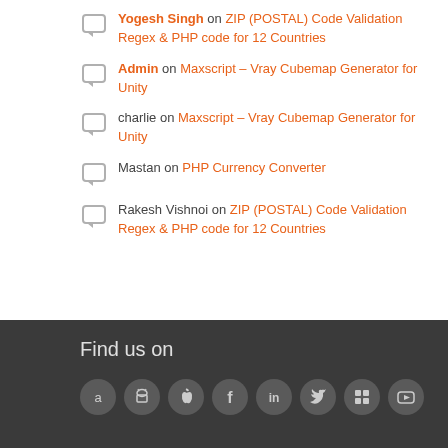Yogesh Singh on ZIP (POSTAL) Code Validation Regex & PHP code for 12 Countries
Admin on Maxscript – Vray Cubemap Generator for Unity
charlie on Maxscript – Vray Cubemap Generator for Unity
Mastan on PHP Currency Converter
Rakesh Vishnoi on ZIP (POSTAL) Code Validation Regex & PHP code for 12 Countries
Find us on
[Figure (other): Row of 8 circular social media icon buttons (Amazon, Android, Apple, Facebook, LinkedIn, Twitter, Windows/Skype, YouTube) on dark background]